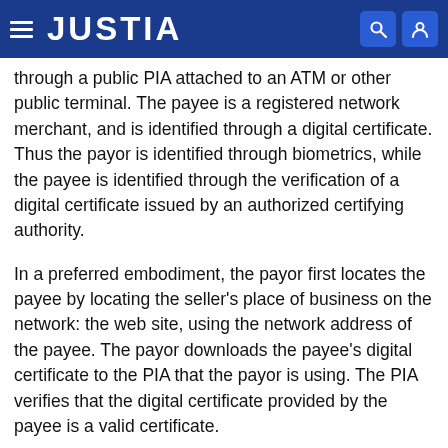JUSTIA
through a public PIA attached to an ATM or other public terminal. The payee is a registered network merchant, and is identified through a digital certificate. Thus the payor is identified through biometrics, while the payee is identified through the verification of a digital certificate issued by an authorized certifying authority.
In a preferred embodiment, the payor first locates the payee by locating the seller's place of business on the network: the web site, using the network address of the payee. The payor downloads the payee's digital certificate to the PIA that the payor is using. The PIA verifies that the digital certificate provided by the payee is a valid certificate.
The payor then submits a bid biometric sample obtained from their physical person using the PIA's biometric sensor. The PIA determines that the biometric